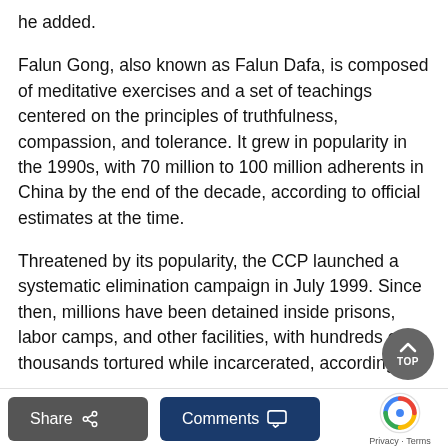he added.
Falun Gong, also known as Falun Dafa, is composed of meditative exercises and a set of teachings centered on the principles of truthfulness, compassion, and tolerance. It grew in popularity in the 1990s, with 70 million to 100 million adherents in China by the end of the decade, according to official estimates at the time.
Threatened by its popularity, the CCP launched a systematic elimination campaign in July 1999. Since then, millions have been detained inside prisons, labor camps, and other facilities, with hundreds of thousands tortured while incarcerated, according to
Share   Comments   Privacy · Terms